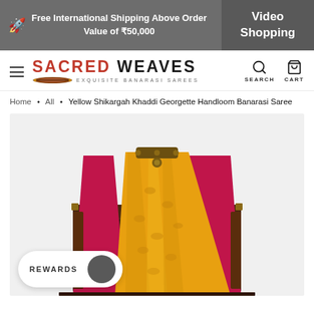Free International Shipping Above Order Value of ₹50,000
Video Shopping
SACRED WEAVES — EXQUISITE BANARASI SAREES
Home • All • Yellow Shikargah Khaddi Georgette Handloom Banarasi Saree
[Figure (photo): Yellow and pink Banarasi saree draped over an antique dark wooden chest/trunk with brass fittings, displayed against a light grey background.]
REWARDS